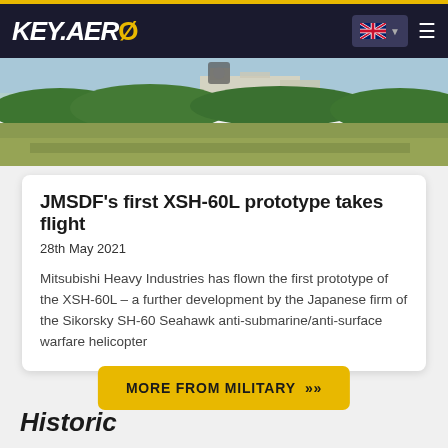KEY.AERO
[Figure (photo): Aerial/ground photograph showing a landscape with green treeline, buildings, and open ground area — helicopter airfield scene]
JMSDF's first XSH-60L prototype takes flight
28th May 2021
Mitsubishi Heavy Industries has flown the first prototype of the XSH-60L – a further development by the Japanese firm of the Sikorsky SH-60 Seahawk anti-submarine/anti-surface warfare helicopter
MORE FROM MILITARY »
Historic